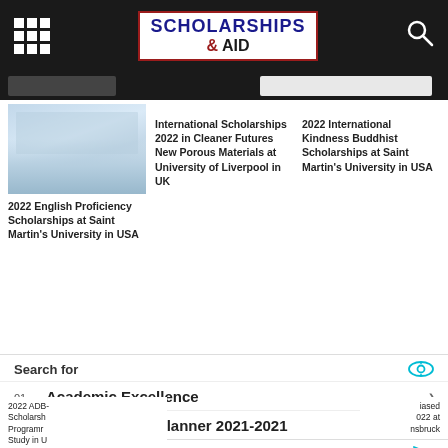SCHOLARSHIPS & AID
[Figure (photo): University building exterior, light blue tones]
2022 English Proficiency Scholarships at Saint Martin's University in USA
International Scholarships 2022 in Cleaner Futures New Porous Materials at University of Liverpool in UK
2022 International Kindness Buddhist Scholarships at Saint Martin's University in USA
Search for
01. Academic Excellence
02. Academic Year Planner 2021-2021
2022 ADB- Scholarsh Program Study in U
022 at nsbruck
Yahoo! Search | Sponsored